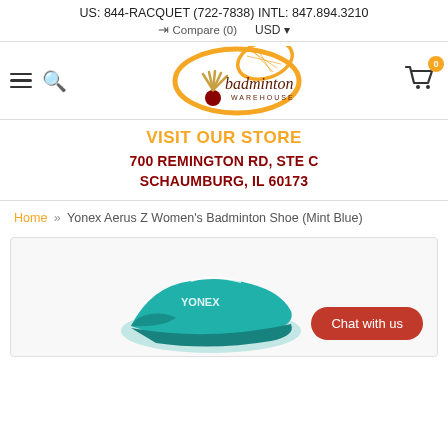US: 844-RACQUET (722-7838) INTL: 847.894.3210
Compare (0)   USD
[Figure (logo): Badminton Warehouse logo with orange oval, shuttlecock, and racquet graphic]
VISIT OUR STORE
700 REMINGTON RD, STE C SCHAUMBURG, IL 60173
Home » Yonex Aerus Z Women's Badminton Shoe (Mint Blue)
[Figure (photo): Partial view of a mint blue Yonex badminton shoe with Chat with us button overlay]